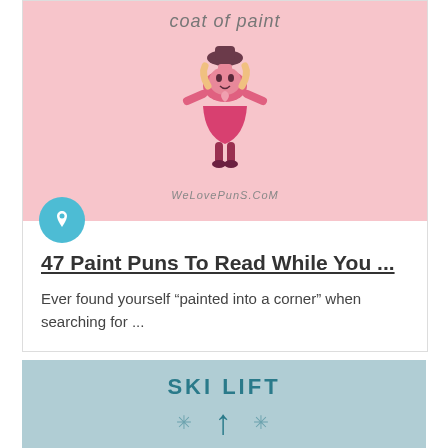[Figure (illustration): Pink background card image showing a cartoon paint bottle character dressed like a woman, with text 'coat of paint' at top and 'WeLovePunS.CoM' at bottom]
47 Paint Puns To Read While You ...
Ever found yourself “painted into a corner” when searching for ...
[Figure (illustration): Light blue/teal background card partially visible with text 'SKI LIFT' and partial illustration below]